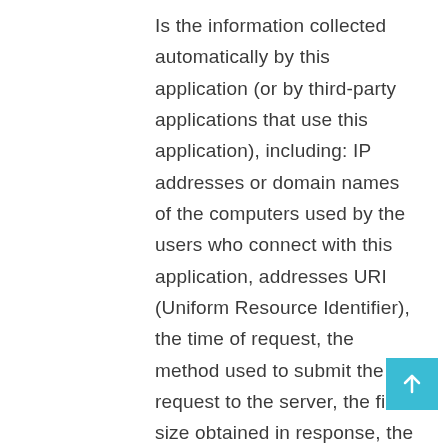Is the information collected automatically by this application (or by third-party applications that use this application), including: IP addresses or domain names of the computers used by the users who connect with this application, addresses URI (Uniform Resource Identifier), the time of request, the method used to submit the request to the server, the file size obtained in response, the numerical code indicating the status of response from the server (successful, error, etc. ) the country of origin, the features of the